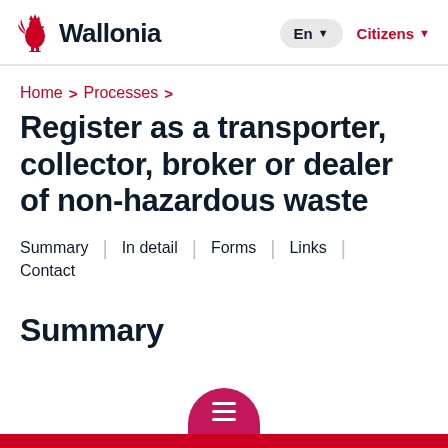Wallonia — En | Citizens
Home > Processes >
Register as a transporter, collector, broker or dealer of non-hazardous waste
Summary | In detail | Forms | Links | Contact
Summary